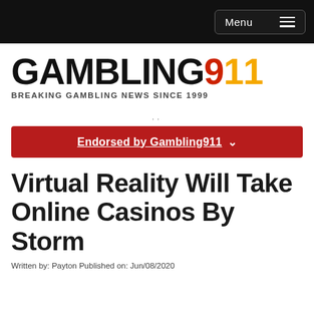Menu
[Figure (logo): Gambling911 logo with GAMBLING in black bold text, 9 in red, 11 in orange/yellow]
BREAKING GAMBLING NEWS SINCE 1999
..
Endorsed by Gambling911 ∨
Virtual Reality Will Take Online Casinos By Storm
Written by: Payton Published on: Jun/08/2020